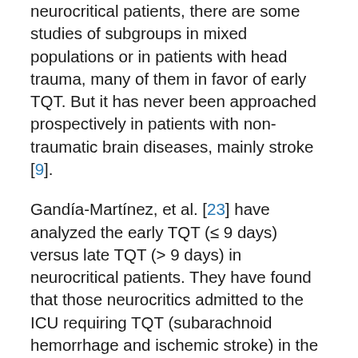neurocritical patients, there are some studies of subgroups in mixed populations or in patients with head trauma, many of them in favor of early TQT. But it has never been approached prospectively in patients with non-traumatic brain diseases, mainly stroke [9].
Gandía-Martínez, et al. [23] have analyzed the early TQT (≤ 9 days) versus late TQT (> 9 days) in neurocritical patients. They have found that those neurocritics admitted to the ICU requiring TQT (subarachnoid hemorrhage and ischemic stroke) in the first 9 days of OTI shortened the MVA time and the consequent need for sedation, decreases the frequency of pneumonia by shortening the antimicrobial treatments, and decreases the stay in the ICU without modifying the duration of the hospital stay or the mortality in ICU or hospital.
Rizk, et al. [24] have reported the effects of TQT